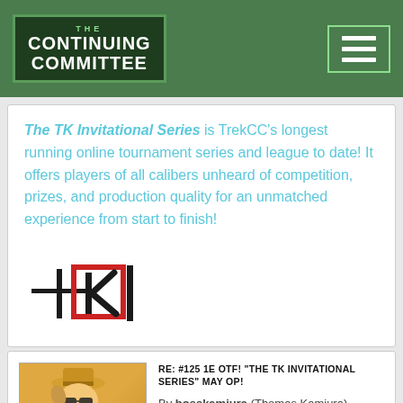THE CONTINUING COMMITTEE
The TK Invitational Series is TrekCC's longest running online tournament series and league to date! It offers players of all calibers unheard of competition, prizes, and production quality for an unmatched experience from start to finish!
[Figure (logo): TKI logo - stylized TK letters with red rectangle and bar lines]
RE: #125 1E OTF! "THE TK INVITATIONAL SERIES" MAY OP!
By bosskamiura (Thomas Kamiura) - Ambassador - Mon May 16, 2022 7:15 pm
#5772